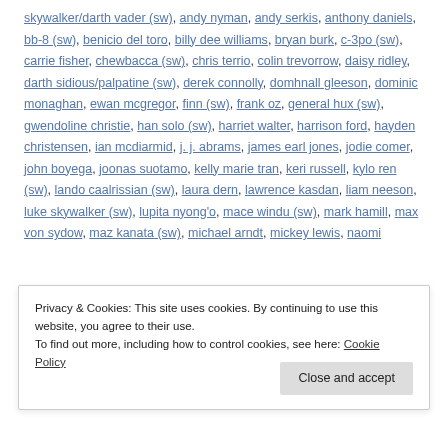skywalker/darth vader (sw), andy nyman, andy serkis, anthony daniels, bb-8 (sw), benicio del toro, billy dee williams, bryan burk, c-3po (sw), carrie fisher, chewbacca (sw), chris terrio, colin trevorrow, daisy ridley, darth sidious/palpatine (sw), derek connolly, domhnall gleeson, dominic monaghan, ewan mcgregor, finn (sw), frank oz, general hux (sw), gwendoline christie, han solo (sw), harriet walter, harrison ford, hayden christensen, ian mcdiarmid, j. j. abrams, james earl jones, jodie comer, john boyega, joonas suotamo, kelly marie tran, keri russell, kylo ren (sw), lando caalrissian (sw), laura dern, lawrence kasdan, liam neeson, luke skywalker (sw), lupita nyong'o, mace windu (sw), mark hamill, max von sydow, maz kanata (sw), michael arndt, mickey lewis, naomi
Privacy & Cookies: This site uses cookies. By continuing to use this website, you agree to their use.
To find out more, including how to control cookies, see here: Cookie Policy